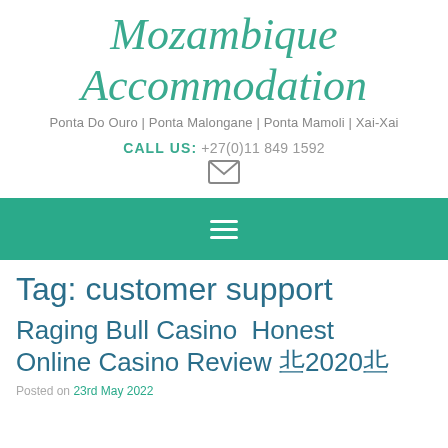Mozambique Accommodation
Ponta Do Ouro | Ponta Malongane | Ponta Mamoli | Xai-Xai
CALL US: +27(0)11 849 1592
[Figure (other): Email envelope icon]
[Figure (other): Navigation hamburger menu icon on teal background bar]
Tag: customer support
Raging Bull Casino  Honest Online Casino Review ᴺ2020ᴺ
Posted on 23rd May 2022